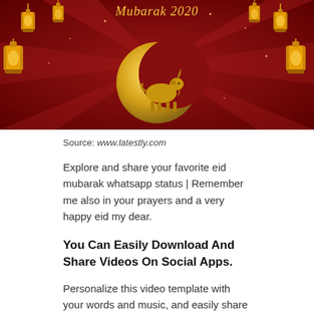[Figure (illustration): Eid Mubarak 2020 decorative image with dark red background, golden crescent moon with a golden goat silhouette, and hanging golden lanterns. Text 'Mubarak 2020' in gold cursive at top.]
Source: www.latestly.com
Explore and share your favorite eid mubarak whatsapp status | Remember me also in your prayers and a very happy eid my dear.
You Can Easily Download And Share Videos On Social Apps.
Personalize this video template with your words and music, and easily share with everyone. Remember me also